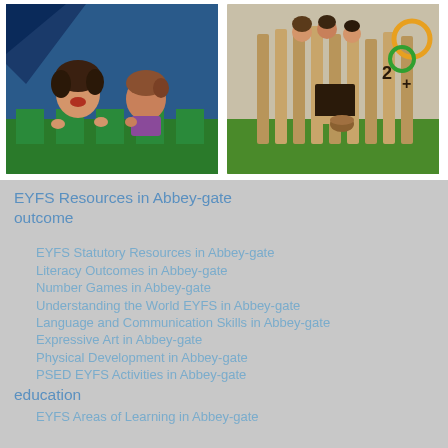[Figure (photo): Two children peeking over a green castle parapet, one with dark curly hair laughing]
[Figure (photo): Children playing in a wooden outdoor playhouse structure on green grass]
EYFS Resources in Abbey-gate outcome
EYFS Statutory Resources in Abbey-gate
Literacy Outcomes in Abbey-gate
Number Games in Abbey-gate
Understanding the World EYFS in Abbey-gate
Language and Communication Skills in Abbey-gate
Expressive Art in Abbey-gate
Physical Development in Abbey-gate
PSED EYFS Activities in Abbey-gate
education
EYFS Areas of Learning in Abbey-gate